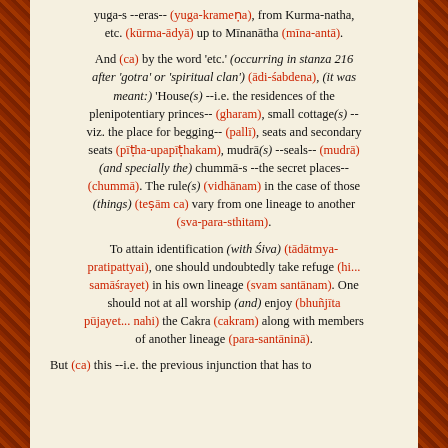yuga-s --eras-- (yuga-krameṇa), from Kurma-natha, etc. (kūrma-ādyā) up to Mīnanātha (mīna-antā).
And (ca) by the word 'etc.' (occurring in stanza 216 after 'gotra' or 'spiritual clan') (ādi-śabdena), (it was meant:) 'House(s) --i.e. the residences of the plenipotentiary princes-- (gharam), small cottage(s) -- viz. the place for begging-- (pallī), seats and secondary seats (pīṭha-upapīṭhakam), mudrā(s) --seals-- (mudrā) (and specially the) chummā-s --the secret places-- (chummā). The rule(s) (vidhānam) in the case of those (things) (teṣām ca) vary from one lineage to another (sva-para-sthitam).
To attain identification (with Śiva) (tādātmya-pratipattyai), one should undoubtedly take refuge (hi... samāśrayet) in his own lineage (svam santānam). One should not at all worship (and) enjoy (bhuñjīta pūjayet... nahi) the Cakra (cakram) along with members of another lineage (para-santāninā).
But (ca) this --i.e. the previous injunction that has to